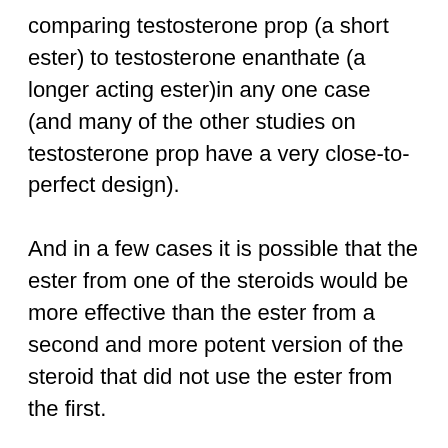comparing testosterone prop (a short ester) to testosterone enanthate (a longer acting ester)in any one case (and many of the other studies on testosterone prop have a very close-to-perfect design).
And in a few cases it is possible that the ester from one of the steroids would be more effective than the ester from a second and more potent version of the steroid that did not use the ester from the first.
And with this information, I feel confident that I was able to eliminate most, if not all, of the effects of the esters used in Trenbolone Adenatacin.
comparing this information to other...